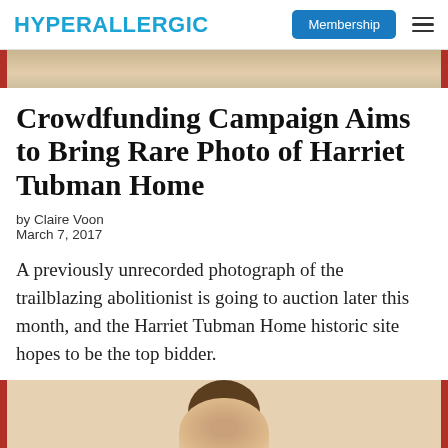HYPERALLERGIC | Membership
[Figure (photo): Top strip of a vintage photograph with red borders visible at top]
Crowdfunding Campaign Aims to Bring Rare Photo of Harriet Tubman Home
by Claire Voon
March 7, 2017
A previously unrecorded photograph of the trailblazing abolitionist is going to auction later this month, and the Harriet Tubman Home historic site hopes to be the top bidder.
[Figure (photo): Bottom portion of a vintage photograph of Harriet Tubman, showing the top of her head with dark hair, red borders on sides]